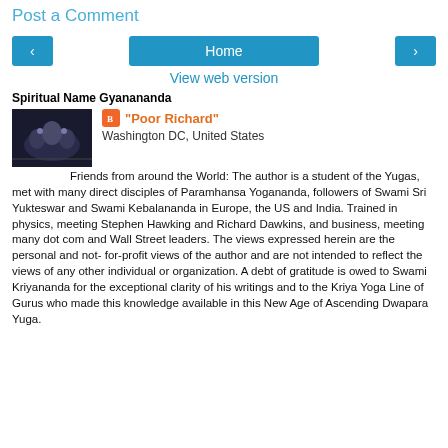Post a Comment
Home
View web version
Spiritual Name Gyanananda
"Poor Richard"
Washington DC, United States
Friends from around the World: The author is a student of the Yugas, met with many direct disciples of Paramhansa Yogananda, followers of Swami Sri Yukteswar and Swami Kebalananda in Europe, the US and India. Trained in physics, meeting Stephen Hawking and Richard Dawkins, and business, meeting many dot com and Wall Street leaders. The views expressed herein are the personal and not- for-profit views of the author and are not intended to reflect the views of any other individual or organization. A debt of gratitude is owed to Swami Kriyananda for the exceptional clarity of his writings and to the Kriya Yoga Line of Gurus who made this knowledge available in this New Age of Ascending Dwapara Yuga.